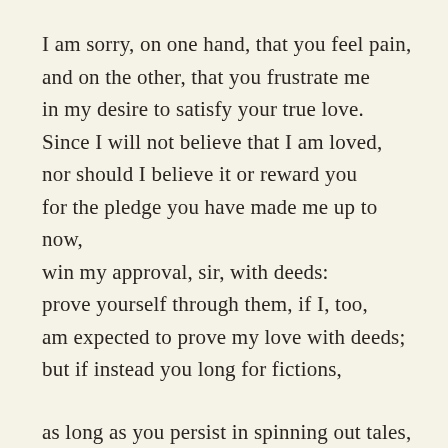I am sorry, on one hand, that you feel pain, and on the other, that you frustrate me in my desire to satisfy your true love. Since I will not believe that I am loved, nor should I believe it or reward you for the pledge you have made me up to now, win my approval, sir, with deeds: prove yourself through them, if I, too, am expected to prove my love with deeds; but if instead you long for fictions,
as long as you persist in spinning out tales, my welcome to you will be just as false; and, when, fatigued and annoyed by fictions,